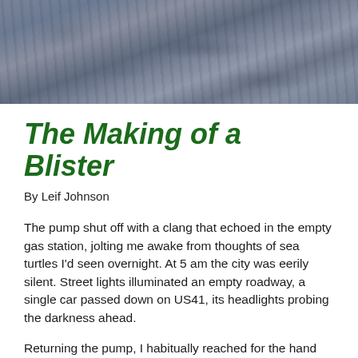[Figure (photo): Rocky or stone textured surface with blue-gray tones, serving as a decorative header image]
The Making of a Blister
By Leif Johnson
The pump shut off with a clang that echoed in the empty gas station, jolting me awake from thoughts of sea turtles I'd seen overnight. At 5 am the city was eerily silent. Street lights illuminated an empty roadway, a single car passed down on US41, its headlights probing the darkness ahead.
Returning the pump, I habitually reached for the hand sanitizer; just another one of those things I